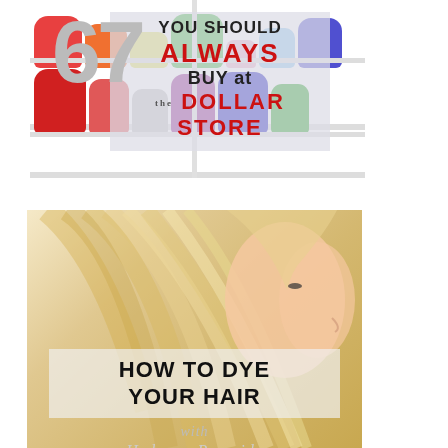[Figure (infographic): Dollar store shopping infographic: '67 things YOU SHOULD ALWAYS BUY at the DOLLAR STORE' with colorful plastic storage containers/bins on white shelves in background.]
[Figure (infographic): Hair care infographic: Profile of blonde woman with flowing hair. Text reads 'HOW TO DYE YOUR HAIR with Hydrogen Peroxide'.]